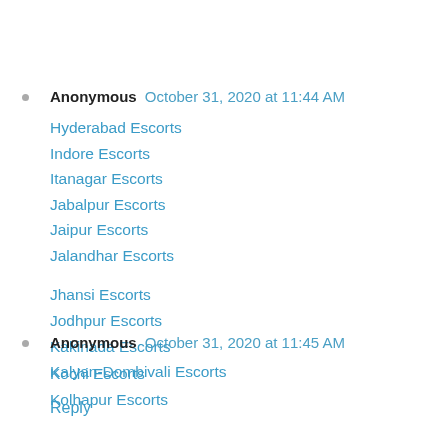Anonymous  October 31, 2020 at 11:44 AM
Hyderabad Escorts
Indore Escorts
Itanagar Escorts
Jabalpur Escorts
Jaipur Escorts
Jalandhar Escorts
Jhansi Escorts
Jodhpur Escorts
Kakinada Escorts
Kalyan-Dombivali Escorts
Reply
Anonymous  October 31, 2020 at 11:45 AM
Kochi Escorts
Kolhapur Escorts